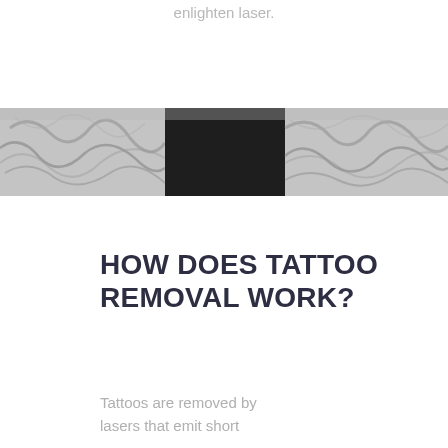enlighten laser.
[Figure (photo): Black and white photograph showing tattooed arms/torso against a dark background, displayed as a horizontal band across the page]
HOW DOES TATTOO REMOVAL WORK?
Tattoos are removed by lasers that emit short